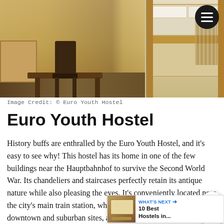[Figure (photo): Interior of Euro Youth Hostel showing wooden chairs and table on the left side, and bunk beds on the right side of the room. A hamburger menu button (three horizontal lines in a dark circle) is visible in the top right corner.]
Image Credit: © Euro Youth Hostel
Euro Youth Hostel
History buffs are enthralled by the Euro Youth Hostel, and it's easy to see why! This hostel has its home in one of the few buildings near the Hauptbahnhof to survive the Second World War. Its chandeliers and staircases perfectly retain its antique nature while also pleasing the eyes. It's conveniently located near the city's main train station, which gives you access to the downtown and suburban sites, as well as other popular places outside of the city like the Alps and the Neuschwanstein Castle. If you intend on staying in for the night, make sure to check out the hostel's bar, where drink specials and happy hours are always